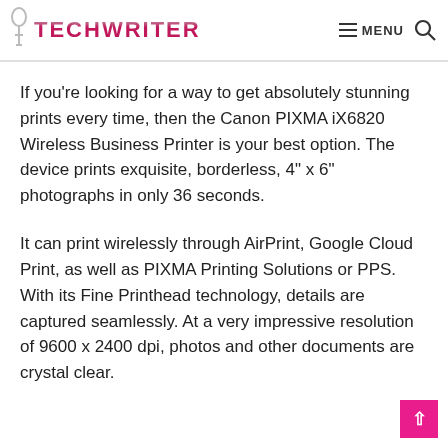TECHWRITER | MENU
If you’re looking for a way to get absolutely stunning prints every time, then the Canon PIXMA iX6820 Wireless Business Printer is your best option. The device prints exquisite, borderless, 4” x 6” photographs in only 36 seconds.
It can print wirelessly through AirPrint, Google Cloud Print, as well as PIXMA Printing Solutions or PPS. With its Fine Printhead technology, details are captured seamlessly. At a very impressive resolution of 9600 x 2400 dpi, photos and other documents are crystal clear.